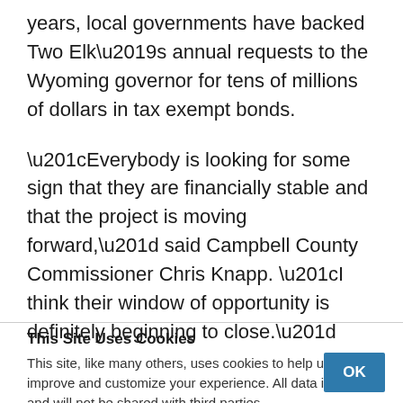years, local governments have backed Two Elk’s annual requests to the Wyoming governor for tens of millions of dollars in tax exempt bonds.
“Everybody is looking for some sign that they are financially stable and that the project is moving forward,” said Campbell County Commissioner Chris Knapp. “I think their window of opportunity is definitely beginning to close.”
This Site Uses Cookies
This site, like many others, uses cookies to help us improve and customize your experience. All data is private and will not be shared with third parties.
OK